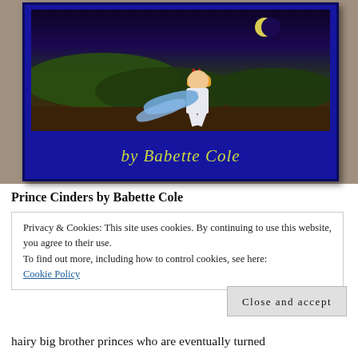[Figure (photo): Photo of a book cover 'Prince Cinders by Babette Cole' — a blue hardcover book showing an illustrated character running at night with a crescent moon, and the author name 'by Babette Cole' in yellow-green text on the blue cover.]
Prince Cinders by Babette Cole
Privacy & Cookies: This site uses cookies. By continuing to use this website, you agree to their use.
To find out more, including how to control cookies, see here:
Cookie Policy
Close and accept
hairy big brother princes who are eventually turned